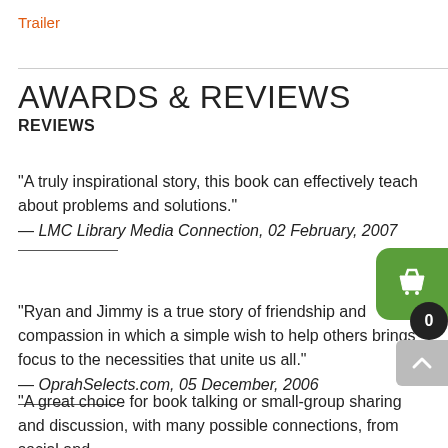Trailer
AWARDS & REVIEWS
REVIEWS
"A truly inspirational story, this book can effectively teach about problems and solutions."
— LMC Library Media Connection, 02 February, 2007
"Ryan and Jimmy is a true story of friendship and compassion in which a simple wish to help others brings focus to the necessities that unite us all."
— OprahSelects.com, 05 December, 2006
"A great choice for book talking or small-group sharing and discussion, with many possible connections, from social and